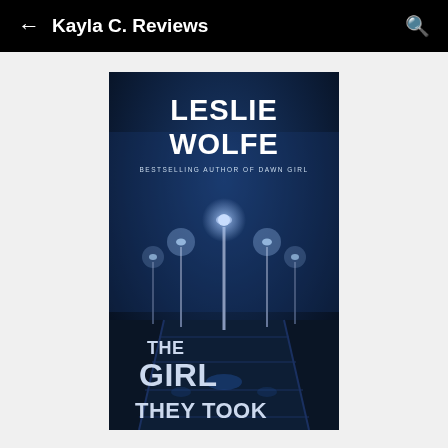← Kayla C. Reviews
[Figure (illustration): Book cover of 'The Girl They Took' by Leslie Wolfe, bestselling author of Dawn Girl. Dark blue moody cover featuring a foggy pier with street lamps at night and water reflections.]